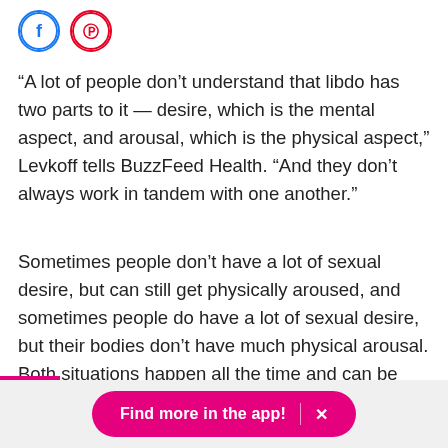[Figure (logo): Facebook and Pinterest social share icon circles]
“A lot of people don’t understand that libdo has two parts to it — desire, which is the mental aspect, and arousal, which is the physical aspect,” Levkoff tells BuzzFeed Health. “And they don’t always work in tandem with one another.”
Sometimes people don’t have a lot of sexual desire, but can still get physically aroused, and sometimes people do have a lot of sexual desire, but their bodies don’t have much physical arousal. Both situations happen all the time and can be totally normal, she explains.
Find more in the app!  ×